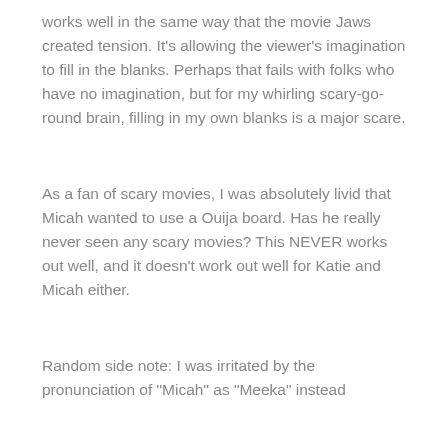works well in the same way that the movie Jaws created tension. It's allowing the viewer's imagination to fill in the blanks. Perhaps that fails with folks who have no imagination, but for my whirling scary-go-round brain, filling in my own blanks is a major scare.
As a fan of scary movies, I was absolutely livid that Micah wanted to use a Ouija board. Has he really never seen any scary movies? This NEVER works out well, and it doesn't work out well for Katie and Micah either.
Random side note: I was irritated by the pronunciation of "Micah" as "Meeka" instead